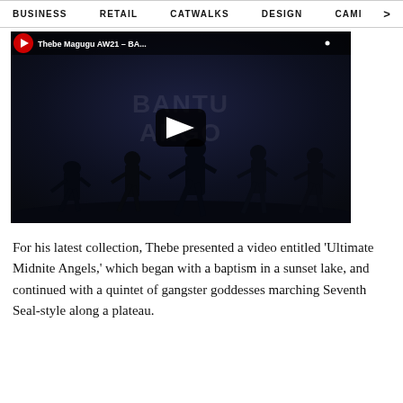BUSINESS   RETAIL   CATWALKS   DESIGN   CAMI  >
[Figure (screenshot): YouTube video thumbnail showing silhouettes of figures walking along a plateau against a dark dramatic sky. Video title bar at top reads 'Thebe Magugu AW21 - BAN...' with a red YouTube logo circle. A large play button is centered on the thumbnail. Watermark text 'BANTU ANGO' is faintly visible in the center background.]
For his latest collection, Thebe presented a video entitled 'Ultimate Midnite Angels,' which began with a baptism in a sunset lake, and continued with a quintet of gangster goddesses marching Seventh Seal-style along a plateau.